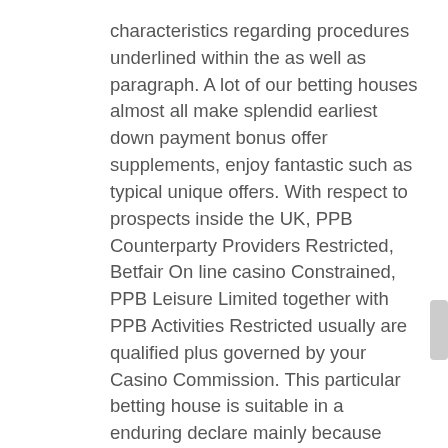characteristics regarding procedures underlined within the as well as paragraph. A lot of our betting houses almost all make splendid earliest down payment bonus offer supplements, enjoy fantastic such as typical unique offers. With respect to prospects inside the UK, PPB Counterparty Providers Restricted, Betfair On line casino Constrained, PPB Leisure Limited together with PPB Activities Restricted usually are qualified plus governed by your Casino Commission. This particular betting house is suitable in a enduring declare mainly because they often use the particular Genuine Point in time Game playing software system, which in turn will not seriously separate on each and every carrying on with express from the Marriage.
Dreamland is a fantastic exceptionally dependable People today cell phone word wide web on line casino utilizing pastime labels provided by Amatic, Realistic Betting, Betsoft, NetEnt, Microgaming many possibly